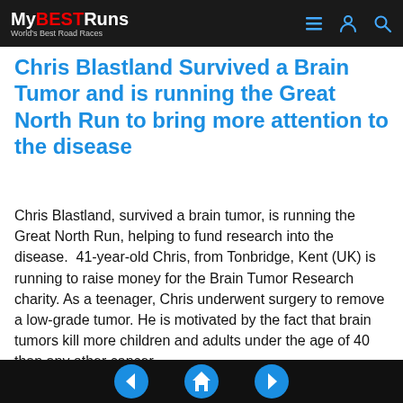My BEST Runs — World's Best Road Races
Chris Blastland Survived a Brain Tumor and is running the Great North Run to bring more attention to the disease
Chris Blastland, survived a brain tumor, is running the Great North Run, helping to fund research into the disease.  41-year-old Chris, from Tonbridge, Kent (UK) is running to raise money for the Brain Tumor Research charity. As a teenager, Chris underwent surgery to remove a low-grade tumor. He is motivated by the fact that brain tumors kill more children and adults under the age of 40 than any other cancer.  Chris is also running in memory of his wife's uncle, Mark Duffy. Despite having chemotherapy, radiotherapy and surgery, Mark died just 11 months after diagnosis with a glioblastoma multiforme (GBM)
navigation: back, home, forward